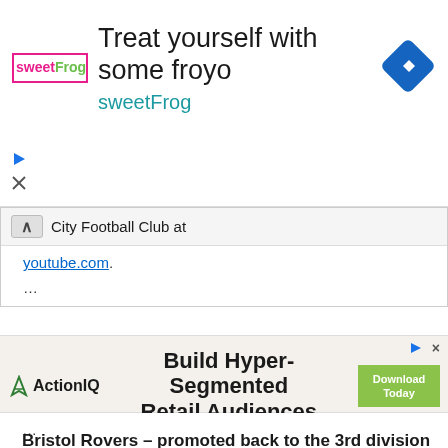[Figure (screenshot): SweetFrog frozen yogurt advertisement banner with logo, headline 'Treat yourself with some froyo', 'sweetFrog' subtext in teal, and a blue diamond navigation icon on the right]
City Football Club at
youtube.com.
...
[Figure (screenshot): ActionIQ advertisement: 'Build Hyper-Segmented Retail Audiences' with ActionIQ logo and green 'Download Today' button]
...
Bristol Rovers – promoted back to the 3rd division after 1 year…